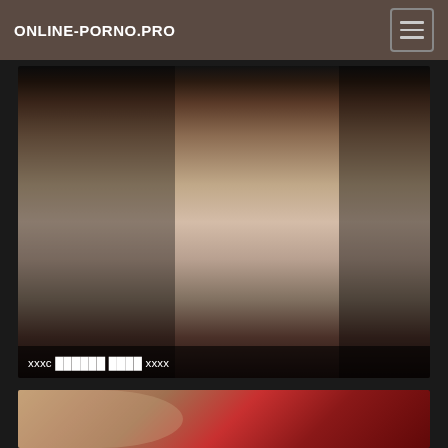ONLINE-PORNO.PRO
[Figure (photo): Video thumbnail showing people, with title overlay: xxxc xxxxxxx xxxx xxxx]
xxxc xxxxxxx xxxx xxxx
[Figure (photo): Partially visible video thumbnail showing two people, one in red clothing]